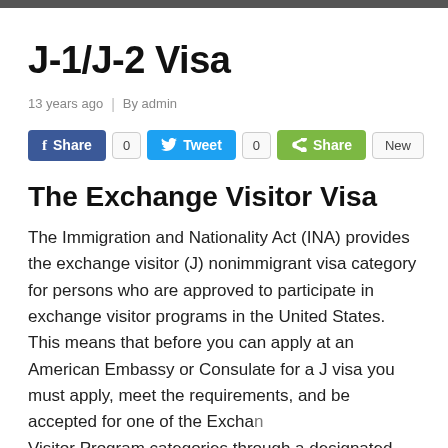J-1/J-2 Visa
13 years ago  |  By admin
[Figure (other): Social sharing buttons row: Facebook Share button with count 0, Twitter Tweet button with count 0, green Share button, and New button]
The Exchange Visitor Visa
The Immigration and Nationality Act (INA) provides the exchange visitor (J) nonimmigrant visa category for persons who are approved to participate in exchange visitor programs in the United States. This means that before you can apply at an American Embassy or Consulate for a J visa you must apply, meet the requirements, and be accepted for one of the Exchange Visitor Program categories through a designated